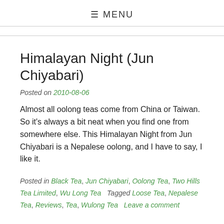☰ MENU
Himalayan Night (Jun Chiyabari)
Posted on 2010-08-06
Almost all oolong teas come from China or Taiwan. So it's always a bit neat when you find one from somewhere else. This Himalayan Night from Jun Chiyabari is a Nepalese oolong, and I have to say, I like it.
Posted in Black Tea, Jun Chiyabari, Oolong Tea, Two Hills Tea Limited, Wu Long Tea   Tagged Loose Tea, Nepalese Tea, Reviews, Tea, Wulong Tea   Leave a comment
Older posts